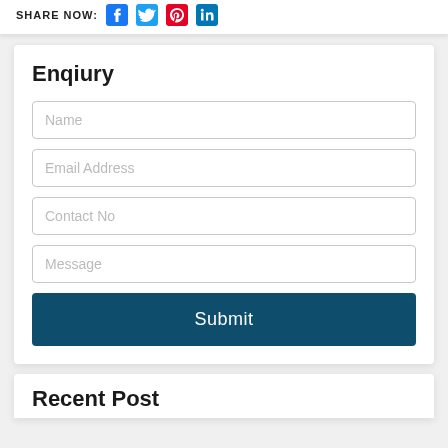SHARE NOW:
Enqiury
Name
Email Address
Contact No
Message
Submit
Recent Post